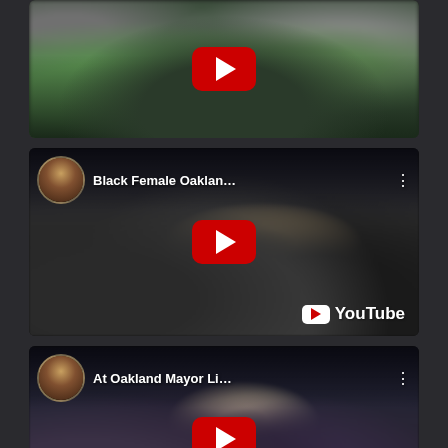[Figure (screenshot): YouTube video thumbnail showing two men in green shirts outdoors, with a red YouTube play button overlay]
[Figure (screenshot): YouTube video embed titled 'Black Female Oaklan...' with a news anchor avatar, blurry crowd scene inside, red play button, and YouTube logo watermark]
[Figure (screenshot): YouTube video embed titled 'At Oakland Mayor Li...' with a news anchor avatar, blurry crowd of people, and red play button]